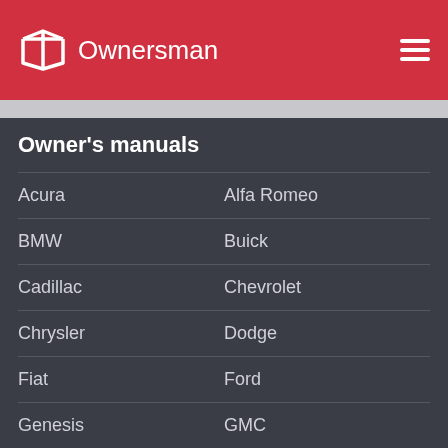Ownersman
Owner's manuals
Acura
Alfa Romeo
BMW
Buick
Cadillac
Chevrolet
Chrysler
Dodge
Fiat
Ford
Genesis
GMC